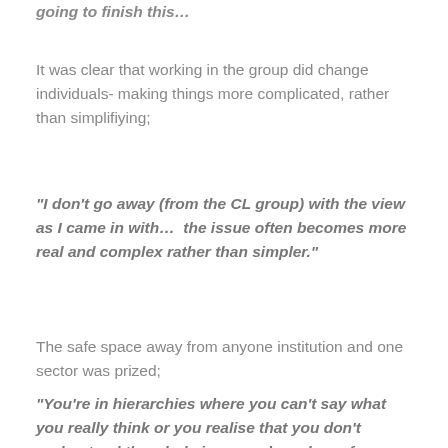going to finish this…
It was clear that working in the group did change individuals- making things more complicated, rather than simplifiying;
“I don’t go away (from the CL group) with the view as I came in with…  the issue often becomes more real and complex rather than simpler.”
The safe space away from anyone institution and one sector was prized;
“You’re in hierarchies where you can’t say what you really think or you realise that you don’t understand the whole issue and can learn from others”. “I value the